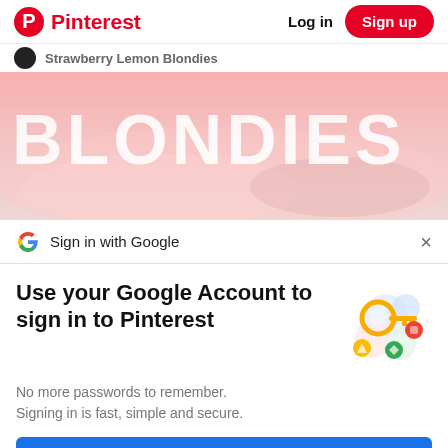Pinterest   Log in   Sign up
Strawberry Lemon Blondies
[Figure (photo): Pink-toned food photograph with large white text 'BLONDIES' overlaid on a pink background]
Sign in with Google
Use your Google Account to sign in to Pinterest
No more passwords to remember.
Signing in is fast, simple and secure.
[Figure (illustration): Google account illustration showing a golden key with colorful circular icons]
Continue